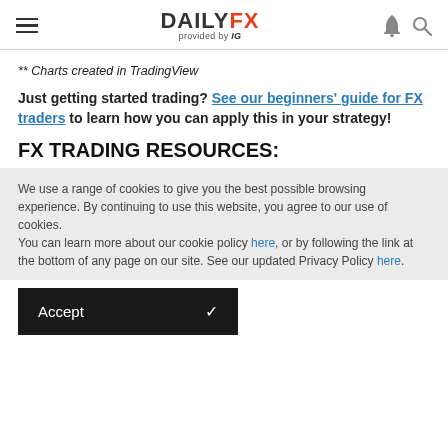DAILYFX provided by IG
** Charts created in TradingView
Just getting started trading? See our beginners' guide for FX traders to learn how you can apply this in your strategy!
FX TRADING RESOURCES:
We use a range of cookies to give you the best possible browsing experience. By continuing to use this website, you agree to our use of cookies.
You can learn more about our cookie policy here, or by following the link at the bottom of any page on our site. See our updated Privacy Policy here.
Accept